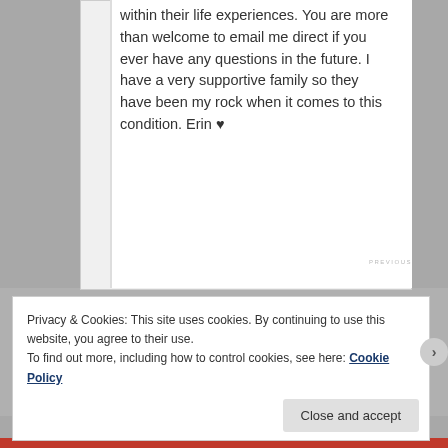within their life experiences. You are more than welcome to email me direct if you ever have any questions in the future. I have a very supportive family so they have been my rock when it comes to this condition. Erin ♥
Privacy & Cookies: This site uses cookies. By continuing to use this website, you agree to their use.
To find out more, including how to control cookies, see here: Cookie Policy